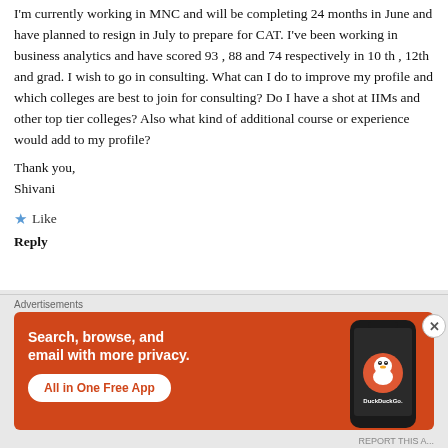I'm currently working in MNC and will be completing 24 months in June and have planned to resign in July to prepare for CAT. I've been working in business analytics and have scored 93 , 88 and 74 respectively in 10 th , 12th and grad. I wish to go in consulting. What can I do to improve my profile and which colleges are best to join for consulting? Do I have a shot at IIMs and other top tier colleges? Also what kind of additional course or experience would add to my profile?
Thank you,
Shivani
★ Like
Reply
Advertisements
[Figure (screenshot): DuckDuckGo advertisement banner with orange background. Text: 'Search, browse, and email with more privacy. All in One Free App'. Shows a phone with DuckDuckGo logo.]